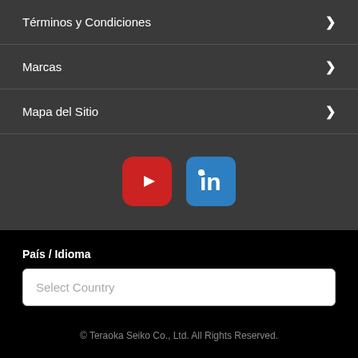Términos y Condiciones
Marcas
Mapa del Sitio
[Figure (illustration): YouTube and LinkedIn social media icons side by side]
País / Idioma
Select Country
© Teraoka Seiko Co., Ltd. All Rights Reserved.